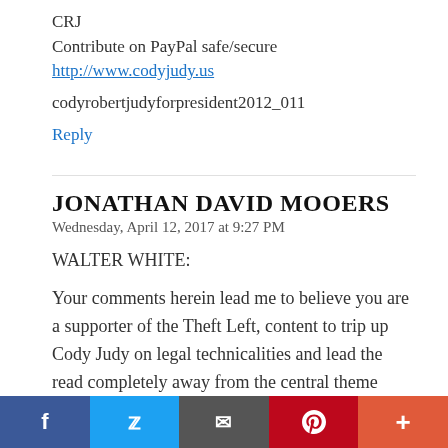CRJ
Contribute on PayPal safe/secure
http://www.codyjudy.us
codyrobertjudyforpresident2012_011
Reply
JONATHAN DAVID MOOERS
Wednesday, April 12, 2017 at 9:27 PM
WALTER WHITE:
Your comments herein lead me to believe you are a supporter of the Theft Left, content to trip up Cody Judy on legal technicalities and lead the read completely away from the central theme altogether: syndicated lawlessness.
Social share bar: Facebook, Twitter, Email, Pinterest, More